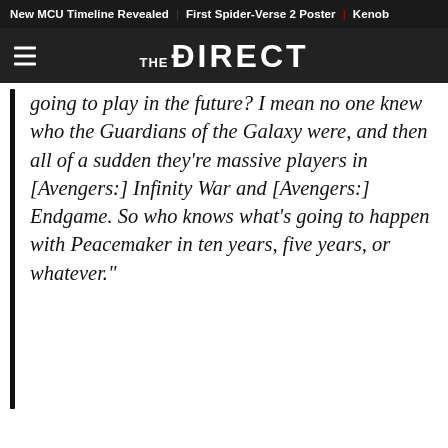New MCU Timeline Revealed | First Spider-Verse 2 Poster | Kenob
THE DIRECT
going to play in the future? I mean no one knew who the Guardians of the Galaxy were, and then all of a sudden they're massive players in [Avengers:] Infinity War and [Avengers:] Endgame. So who knows what's going to happen with Peacemaker in ten years, five years, or whatever."